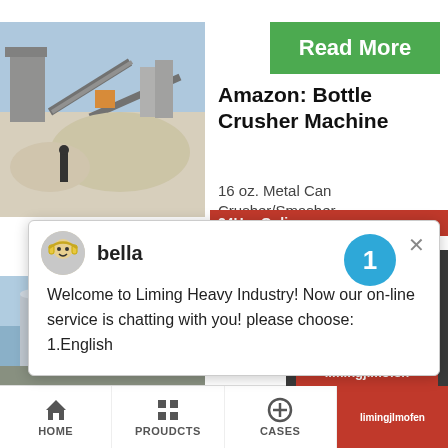[Figure (photo): Industrial quarry/crusher plant with conveyor belts, machinery, and a worker in foreground, dusty quarry landscape]
[Figure (screenshot): Green Read More button]
Amazon: Bottle Crusher Machine
16 oz. Metal Can
Crusher/Smasher
[Figure (screenshot): Chat popup from Liming Heavy Industry with avatar of bella saying: Welcome to Liming Heavy Industry! Now our on-line service is chatting with you! please choose: 1.English]
Shipping on orders over $25 shipped by Amazon.
[Figure (screenshot): Need question and suggestion widget with Chat Now, Enquiry, and limingjlmofen buttons, and a notification circle showing 1]
[Figure (photo): Industrial silos/storage tanks photo]
[Figure (screenshot): Green Read More button (second)]
Science Proj…
HOME   PROUDCTS   CASES   limingjlmofen